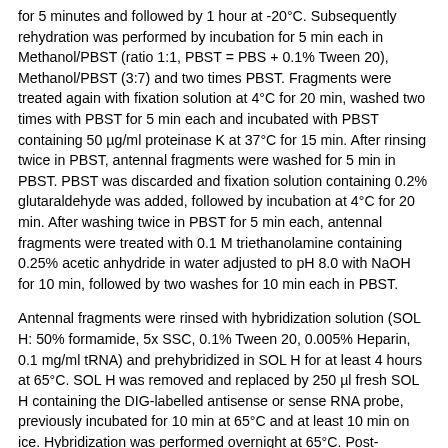for 5 minutes and followed by 1 hour at -20°C. Subsequently rehydration was performed by incubation for 5 min each in Methanol/PBST (ratio 1:1, PBST = PBS + 0.1% Tween 20), Methanol/PBST (3:7) and two times PBST. Fragments were treated again with fixation solution at 4°C for 20 min, washed two times with PBST for 5 min each and incubated with PBST containing 50 µg/ml proteinase K at 37°C for 15 min. After rinsing twice in PBST, antennal fragments were washed for 5 min in PBST. PBST was discarded and fixation solution containing 0.2% glutaraldehyde was added, followed by incubation at 4°C for 20 min. After washing twice in PBST for 5 min each, antennal fragments were treated with 0.1 M triethanolamine containing 0.25% acetic anhydride in water adjusted to pH 8.0 with NaOH for 10 min, followed by two washes for 10 min each in PBST.
Antennal fragments were rinsed with hybridization solution (SOL H: 50% formamide, 5x SSC, 0.1% Tween 20, 0.005% Heparin, 0.1 mg/ml tRNA) and prehybridized in SOL H for at least 4 hours at 65°C. SOL H was removed and replaced by 250 µl fresh SOL H containing the DIG-labelled antisense or sense RNA probe, previously incubated for 10 min at 65°C and at least 10 min on ice. Hybridization was performed overnight at 65°C. Post-hybridization antennal fragments were shortly rinsed and then washed for 1 hour in 2x SSC containing 50% formamide, followed by three washes in 2x SSC, each for 10 min. After a short rinse in PBST antennal fragments were incubated for 1 hour in RNase solution (PBST containing 2 µg/ml RNase A) at 37 °C, followed by a wash in 2x SSC at 37 °C (10 min), 55°C (15 min) and in 0.2x SSC at 55°C (two times 15 min each) and at last in PBST (5 min). Unspecific binding sides were blocked by incubation in blocking solution (BS = 90 mM Tris pH 7.5, 10 mM maleic acid, 150 mM NaCl, 0.03% Triton- X100, 1% blocking-reagent), for at least two hours. BS was removed and replaced by BS containing anti-DIG